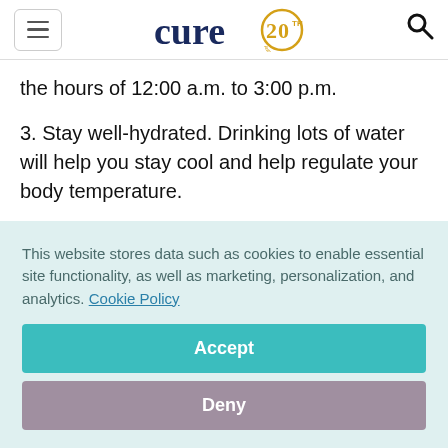cure20 [logo]
the hours of 12:00 a.m. to 3:00 p.m.
3. Stay well-hydrated. Drinking lots of water will help you stay cool and help regulate your body temperature.
4. Try to avoid salty foods that help your body retain
This website stores data such as cookies to enable essential site functionality, as well as marketing, personalization, and analytics. Cookie Policy
Accept
Deny